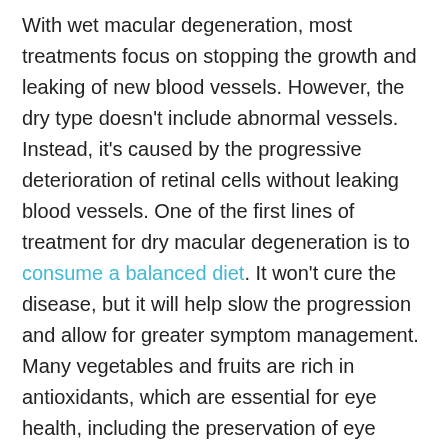With wet macular degeneration, most treatments focus on stopping the growth and leaking of new blood vessels. However, the dry type doesn't include abnormal vessels. Instead, it's caused by the progressive deterioration of retinal cells without leaking blood vessels. One of the first lines of treatment for dry macular degeneration is to consume a balanced diet. It won't cure the disease, but it will help slow the progression and allow for greater symptom management. Many vegetables and fruits are rich in antioxidants, which are essential for eye health, including the preservation of eye tissue and the preservation of vision. Some vegetables with high antioxidants are squash, broccoli, spinach, and kale. Research has indicated foods rich in zinc might also be beneficial for individuals with macular degeneration. Most of the foods with high zinc levels are animal products like lamb, pork, beef, cheese, milk, and yogurt. However, if individuals have to limit dairy or meat intake, they can also get zinc from whole-wheat bread and whole-grain